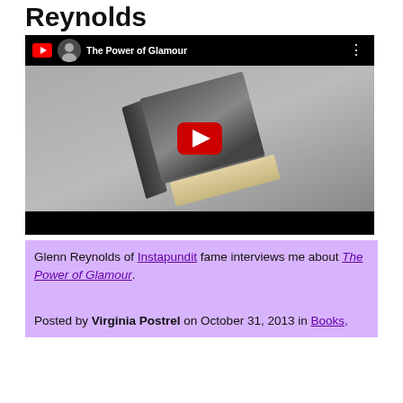Reynolds
[Figure (screenshot): YouTube video thumbnail showing a book titled 'The Power of Glamour' with a red play button in the center. The video top bar shows a channel avatar, the text 'The Power of Glamour', and a menu icon.]
Glenn Reynolds of Instapundit fame interviews me about The Power of Glamour.
Posted by Virginia Postrel on October 31, 2013 in Books,